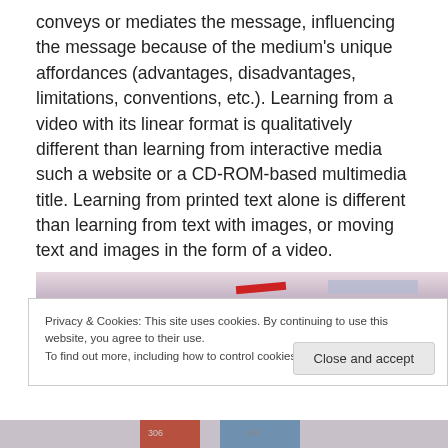conveys or mediates the message, influencing the message because of the medium's unique affordances (advantages, disadvantages, limitations, conventions, etc.). Learning from a video with its linear format is qualitatively different than learning from interactive media such a website or a CD-ROM-based multimedia title. Learning from printed text alone is different than learning from text with images, or moving text and images in the form of a video.
[Figure (photo): Partial view of a photograph or image strip showing a reddish aircraft or object on a pinkish-purple background, partially obscured by cookie banner overlay.]
Privacy & Cookies: This site uses cookies. By continuing to use this website, you agree to their use.
To find out more, including how to control cookies, see here: Cookie Policy
[Figure (photo): Bottom image strip showing colorful sections including red and blue blocks with numeric labels (306, 306).]